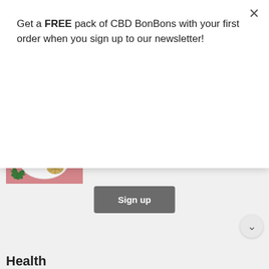Get a FREE pack of CBD BonBons with your first order when you sign up to our newsletter!
Sign up
[Figure (screenshot): Website page showing article listings with a dark header bar, search box, orange underline, and article cards for cannabis-related articles]
Cannabis Tourism: Top 9 Cannabis Destinations & Their Local Hot Spots
Marketing Cannabis Related Goods: The Hurdles
Health